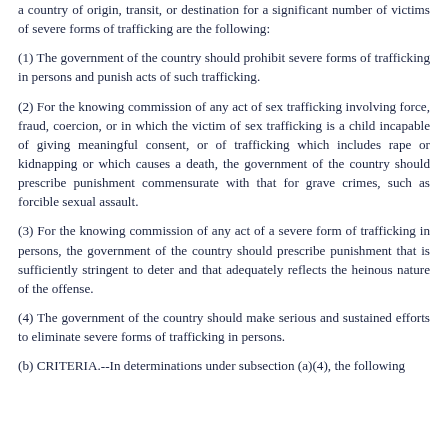a country of origin, transit, or destination for a significant number of victims of severe forms of trafficking are the following:
(1) The government of the country should prohibit severe forms of trafficking in persons and punish acts of such trafficking.
(2) For the knowing commission of any act of sex trafficking involving force, fraud, coercion, or in which the victim of sex trafficking is a child incapable of giving meaningful consent, or of trafficking which includes rape or kidnapping or which causes a death, the government of the country should prescribe punishment commensurate with that for grave crimes, such as forcible sexual assault.
(3) For the knowing commission of any act of a severe form of trafficking in persons, the government of the country should prescribe punishment that is sufficiently stringent to deter and that adequately reflects the heinous nature of the offense.
(4) The government of the country should make serious and sustained efforts to eliminate severe forms of trafficking in persons.
(b) CRITERIA.--In determinations under subsection (a)(4), the following